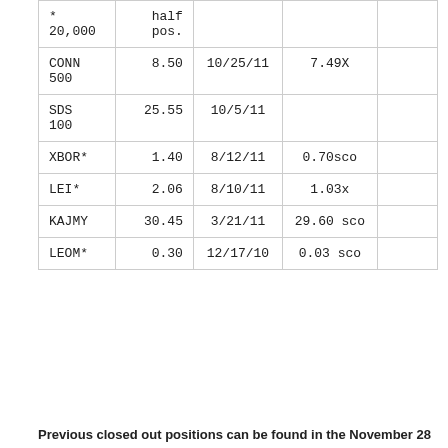| *
20,000 | half pos. |  |  |  |
| CONN
500 | 8.50 | 10/25/11 | 7.49X |  |
| SDS
100 | 25.55 | 10/5/11 |  |  |
| XBOR* | 1.40 | 8/12/11 | 0.70sco |  |
| LEI* | 2.06 | 8/10/11 | 1.03x |  |
| KAJMY | 30.45 | 3/21/11 | 29.60 sco |  |
| LEOM* | 0.30 | 12/17/10 | 0.03 sco |  |
Previous closed out positions can be found in the November 28